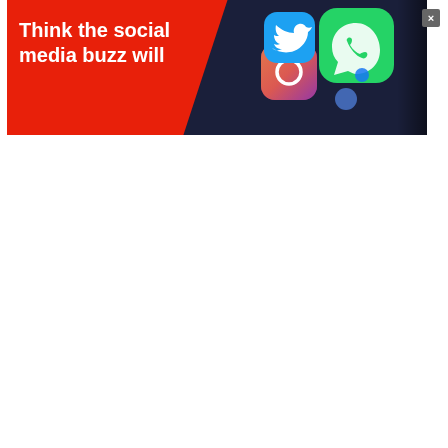[Figure (screenshot): Advertisement banner with red background on the left side showing text 'Think the social media buzz will' in white bold font, and dark navy background on the right side showing colorful social media app icons (green phone/WhatsApp, pink/purple icons, blue dots). A small close button (×) is visible in the upper right corner of the browser chrome area.]